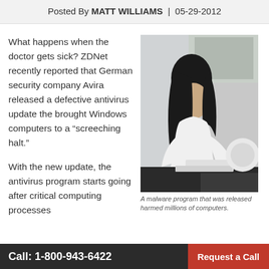Posted By MATT WILLIAMS | 05-29-2012
What happens when the doctor gets sick? ZDNet recently reported that German security company Avira released a defective antivirus update the brought Windows computers to a “screeching halt.”
[Figure (photo): A woman in a white shirt smiling and working on a laptop at a desk, with a white brick wall and window in the background.]
With the new update, the antivirus program starts going after critical computing processes malware, something that
A malware program that was released harmed millions of computers.
Call: 1-800-943-6422   Request a Call